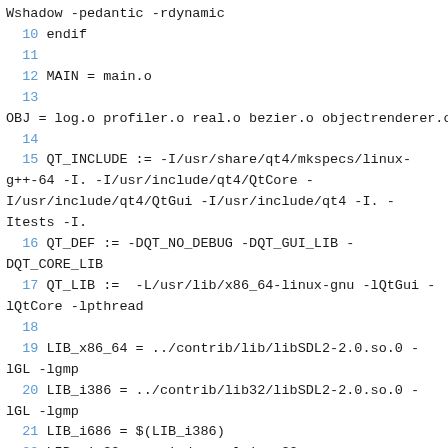Wshadow -pedantic -rdynamic
10 endif
11
12 MAIN = main.o
13
OBJ = log.o profiler.o real.o bezier.o objectrenderer.o
14
15 QT_INCLUDE := -I/usr/share/qt4/mkspecs/linux-g++-64 -I. -I/usr/include/qt4/QtCore -I/usr/include/qt4/QtGui -I/usr/include/qt4 -I. -Itests -I.
16 QT_DEF := -DQT_NO_DEBUG -DQT_GUI_LIB -DQT_CORE_LIB
17 QT_LIB := -L/usr/lib/x86_64-linux-gnu -lQtGui -lQtCore -lpthread
18
19 LIB_x86_64 = ../contrib/lib/libSDL2-2.0.so.0 -lGL -lgmp
20 LIB_i386 = ../contrib/lib32/libSDL2-2.0.so.0 -lGL -lgmp
21 LIB_i686 = $(LIB_i386)
22 LIB_win32 = -mwindows -lmingw32 -L../contrib/win32/lib/ -lSDL2main -lSDL2 -lgmp -static-libgcc -lopengl32 -static-libstdc++
23